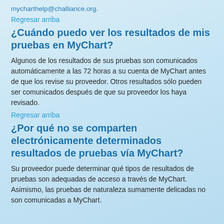mycharthelp@challiance.org.
Regresar arriba
¿Cuándo puedo ver los resultados de mis pruebas en MyChart?
Algunos de los resultados de sus pruebas son comunicados automáticamente a las 72 horas a su cuenta de MyChart antes de que los revise su proveedor. Otros resultados sólo pueden ser comunicados después de que su proveedor los haya revisado.
Regresar arriba
¿Por qué no se comparten electrónicamente determinados resultados de pruebas vía MyChart?
Su proveedor puede determinar qué tipos de resultados de pruebas son adequadas de acceso a través de MyChart. Asimismo, las pruebas de naturaleza sumamente delicadas no son comunicadas a MyChart.